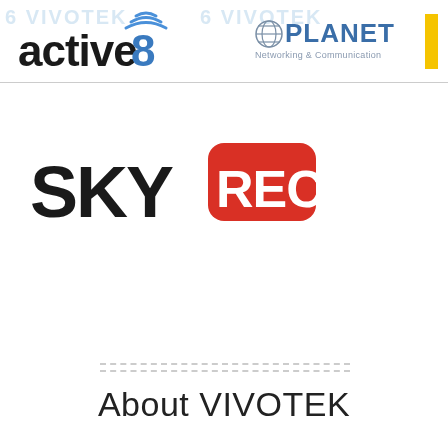[Figure (logo): active8 logo with wireless signal icon on the '8', black text]
[Figure (logo): PLANET Networking & Communication logo in blue/grey with globe icon]
[Figure (logo): SKY REC logo: SKY in black bold text, REC in white bold text on red rounded rectangle]
About VIVOTEK